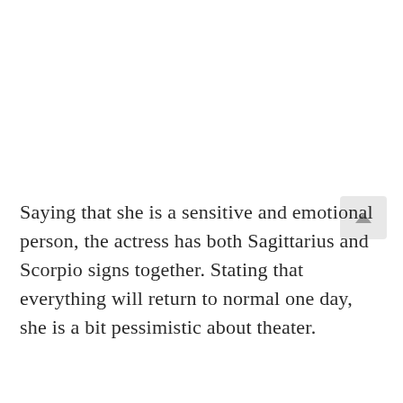Saying that she is a sensitive and emotional person, the actress has both Sagittarius and Scorpio signs together. Stating that everything will return to normal one day, she is a bit pessimistic about theater.